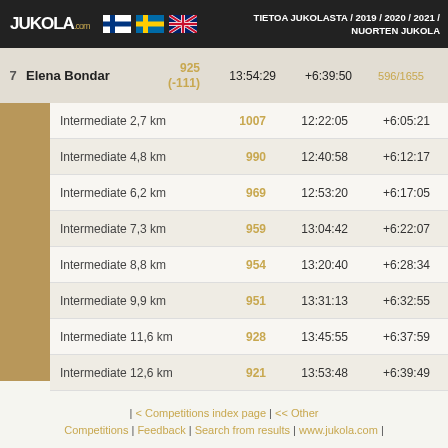JUKOLA.com | TIETOA JUKOLASTA / 2019 / 2020 / 2021 / NUORTEN JUKOLA
| # | Name | Pos | Time | Diff | Rank |
| --- | --- | --- | --- | --- | --- |
| 7 | Elena Bondar | 925 (-111) | 13:54:29 | +6:39:50 | 596/1655 |
| Checkpoint | Pos | Time | Diff |
| --- | --- | --- | --- |
| Intermediate 2,7 km | 1007 | 12:22:05 | +6:05:21 |
| Intermediate 4,8 km | 990 | 12:40:58 | +6:12:17 |
| Intermediate 6,2 km | 969 | 12:53:20 | +6:17:05 |
| Intermediate 7,3 km | 959 | 13:04:42 | +6:22:07 |
| Intermediate 8,8 km | 954 | 13:20:40 | +6:28:34 |
| Intermediate 9,9 km | 951 | 13:31:13 | +6:32:55 |
| Intermediate 11,6 km | 928 | 13:45:55 | +6:37:59 |
| Intermediate 12,6 km | 921 | 13:53:48 | +6:39:49 |
| < Competitions index page | << Other Competitions | Feedback | Search from results | www.jukola.com |